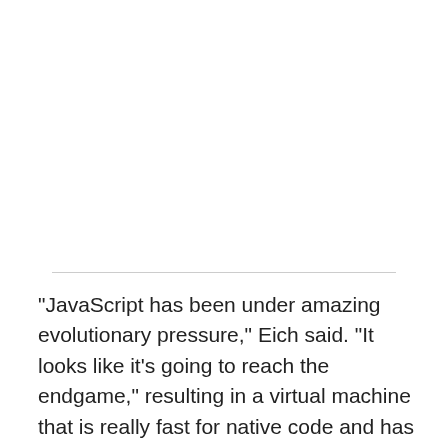"JavaScript has been under amazing evolutionary pressure," Eich said. "It looks like it's going to reach the endgame," resulting in a virtual machine that is really fast for native code and has high-level affordances for Web development, he said.